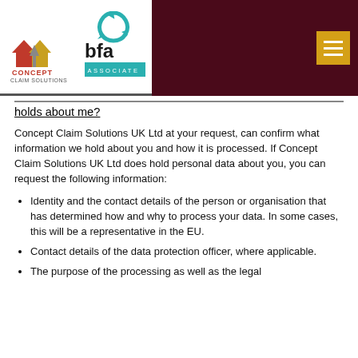[Figure (logo): Concept Claim Solutions logo with red and gold house icons and grey arrow, and BFA Associate logo with teal circular arrow icon and 'bfa ASSOCIATE' text]
holds about me?
Concept Claim Solutions UK Ltd at your request, can confirm what information we hold about you and how it is processed. If Concept Claim Solutions UK Ltd does hold personal data about you, you can request the following information:
Identity and the contact details of the person or organisation that has determined how and why to process your data. In some cases, this will be a representative in the EU.
Contact details of the data protection officer, where applicable.
The purpose of the processing as well as the legal